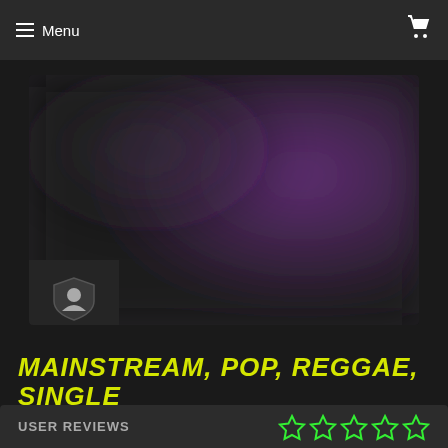Menu
[Figure (photo): Blurred dark abstract image with purple gradient light on right side, and a shield/avatar icon in lower left corner]
MAINSTREAM, POP, REGGAE, SINGLE
USER REVIEWS